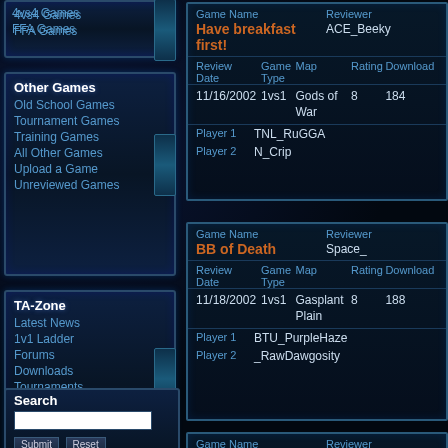4vs4 Games
FFA Games
Other Games
Old School Games
Tournament Games
Training Games
All Other Games
Upload a Game
Unreviewed Games
TA-Zone
Latest News
1v1 Ladder
Forums
Downloads
Tournaments
TA Clans
Search
TADRS Admin
| Game Name | Reviewer | Review Date | Game Type | Map | Rating | Download |
| --- | --- | --- | --- | --- | --- | --- |
| Have breakfast first! | ACE_Beeky | 11/16/2002 | 1vs1 | Gods of War | 8 | 184 |
| Player 1 | TNL_RuGGA |
| Player 2 | N_Crip |
| Game Name | Reviewer | Review Date | Game Type | Map | Rating | Download |
| --- | --- | --- | --- | --- | --- | --- |
| BB of Death | Space_ | 11/18/2002 | 1vs1 | Gasplant Plain | 8 | 188 |
| Player 1 | BTU_PurpleHaze |
| Player 2 | _RawDawgosity |
| Game Name | Reviewer | Review Date | Game Type | Map | Rating | Download |
| --- | --- | --- | --- | --- | --- | --- |
| Quick skeets rules! | ACE_Beeky |